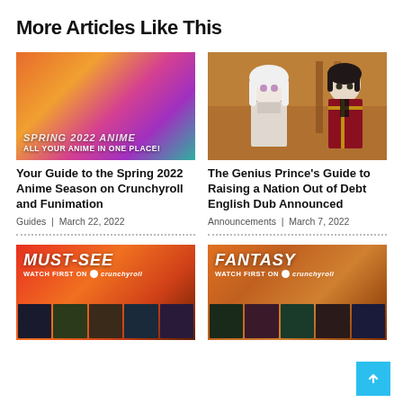More Articles Like This
[Figure (photo): Colorful anime promotional image for Spring 2022 Anime season with text 'SPRING 2022 ANIME ALL YOUR ANIME IN ONE PLACE!']
Your Guide to the Spring 2022 Anime Season on Crunchyroll and Funimation
Guides | March 22, 2022
[Figure (photo): Anime characters from The Genius Prince's Guide to Raising a Nation Out of Debt — a white-haired girl and a dark-haired prince in red uniform]
The Genius Prince's Guide to Raising a Nation Out of Debt English Dub Announced
Announcements | March 7, 2022
[Figure (photo): Must-See anime promotional banner on Crunchyroll with text 'MUST-SEE WATCH FIRST ON crunchyroll' and anime thumbnail grid]
[Figure (photo): Fantasy anime promotional banner on Crunchyroll with text 'FANTASY WATCH FIRST ON crunchyroll' and anime thumbnail grid]